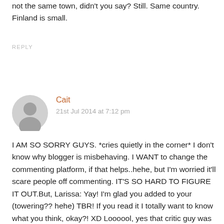not the same town, didn't you say? Still. Same country. Finland is small.
REPLY
[Figure (illustration): Generic user avatar icon — grey silhouette of a person in a circle]
Cait
21st Jul 2014 at 7:12 pm
I AM SO SORRY GUYS. *cries quietly in the corner* I don't know why blogger is misbehaving. I WANT to change the commenting platform, if that helps..hehe, but I'm worried it'll scare people off commenting. IT'S SO HARD TO FIGURE IT OUT.But, Larissa: Yay! I'm glad you added to your (towering?? hehe) TBR! If you read it I totally want to know what you think, okay?! XD Loooool, yes that critic guy was fearsome. Now I kind of understand him. Scrap that, I adore him. He loved good food. I mean, what more could a person hanker after??